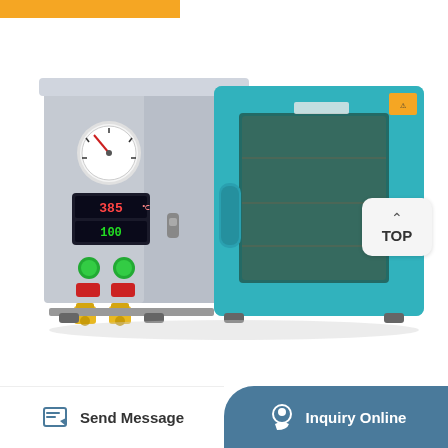[Figure (photo): Laboratory vacuum drying oven with teal/blue door open, gray body, pressure gauge, digital temperature display showing 385/100, control buttons, and yellow valve connectors at the bottom]
TOP
Send Message
Inquiry Online